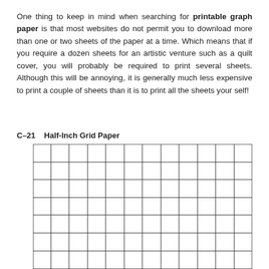One thing to keep in mind when searching for printable graph paper is that most websites do not permit you to download more than one or two sheets of the paper at a time. Which means that if you require a dozen sheets for an artistic venture such as a quilt cover, you will probably be required to print several sheets. Although this will be annoying, it is generally much less expensive to print a couple of sheets than it is to print all the sheets your self!
C–21    Half-Inch Grid Paper
[Figure (other): A half-inch grid paper template showing a rectangular grid of evenly spaced cells, approximately 12 columns wide and 7 rows visible, with black border lines.]